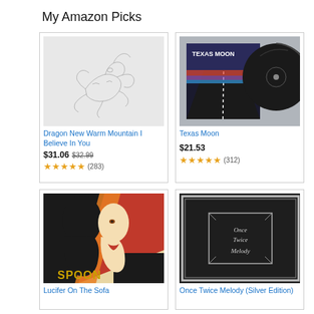My Amazon Picks
[Figure (illustration): Album cover for Dragon New Warm Mountain I Believe In You - pencil sketch line drawing on light gray background]
Dragon New Warm Mountain I Believe In You
$31.06 $32.99
★★★★★ (283)
[Figure (photo): Album cover for Texas Moon - vinyl record leaning against colorful album cover with Texas Moon logo on dark background]
Texas Moon
$21.53
★★★★★ (312)
[Figure (illustration): Album cover for Lucifer On The Sofa by Spoon - stylized art deco poster with woman's face split in red/orange and black, SPOON text at bottom]
Lucifer On The Sofa
[Figure (photo): Album cover for Once Twice Melody Silver Edition - black cover with silver border and ornate script text reading Once Twice Melody in center box]
Once Twice Melody (Silver Edition)